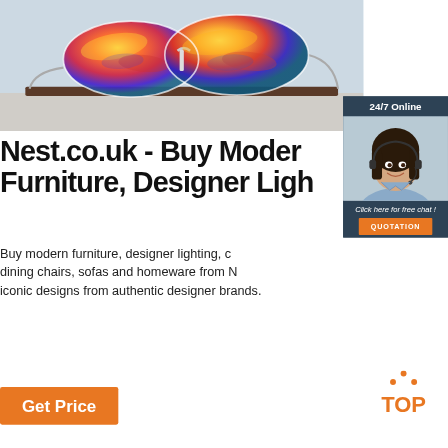[Figure (photo): Close-up photo of colorful iridescent sport sunglasses displayed on a stand against a light blue/grey background]
[Figure (photo): Chat widget showing a female customer service agent wearing a headset, smiling, with '24/7 Online' header, 'Click here for free chat!' text and an orange QUOTATION button]
Nest.co.uk - Buy Modern Furniture, Designer Ligh
Buy modern furniture, designer lighting, dining chairs, sofas and homeware from N... iconic designs from authentic designer brands.
[Figure (logo): Orange TOP icon with decorative dots above the letters]
Get Price